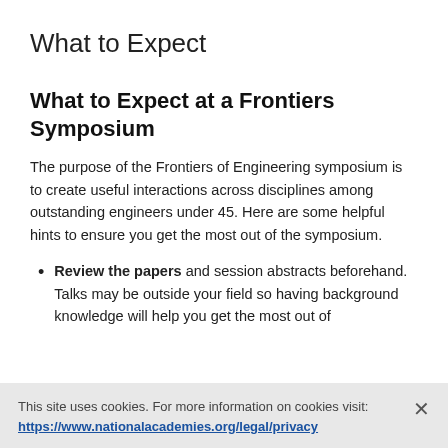What to Expect
What to Expect at a Frontiers Symposium
The purpose of the Frontiers of Engineering symposium is to create useful interactions across disciplines among outstanding engineers under 45. Here are some helpful hints to ensure you get the most out of the symposium.
Review the papers and session abstracts beforehand. Talks may be outside your field so having background knowledge will help you get the most out of
This site uses cookies. For more information on cookies visit:
https://www.nationalacademies.org/legal/privacy